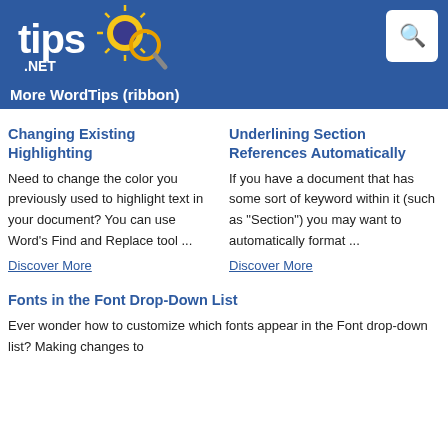[Figure (logo): tips.NET logo with sun/magnifying glass graphic on blue header bar, with search icon box in top right]
More WordTips (ribbon)
Changing Existing Highlighting
Need to change the color you previously used to highlight text in your document? You can use Word's Find and Replace tool ...
Discover More
Underlining Section References Automatically
If you have a document that has some sort of keyword within it (such as "Section") you may want to automatically format ...
Discover More
Fonts in the Font Drop-Down List
Ever wonder how to customize which fonts appear in the Font drop-down list? Making changes to